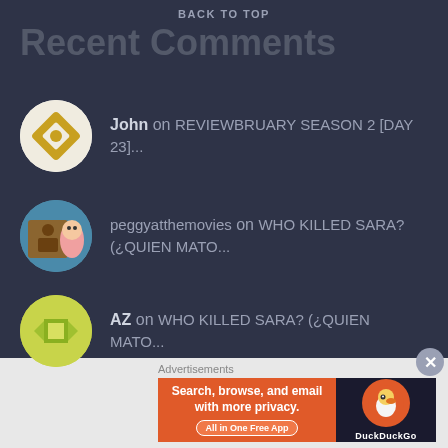BACK TO TOP
Recent Comments
John on REVIEWBRUARY SEASON 2 [DAY 23]...
peggyatthemovies on WHO KILLED SARA? (¿QUIEN MATO...
AZ on WHO KILLED SARA? (¿QUIEN MATO...
Advertisements
[Figure (screenshot): DuckDuckGo advertisement banner: Search, browse, and email with more privacy. All in One Free App. DuckDuckGo logo on dark right panel.]